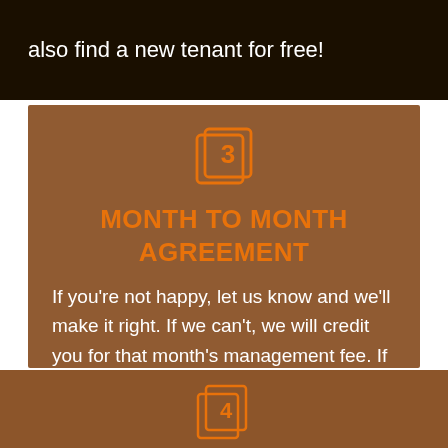also find a new tenant for free!
[Figure (illustration): Orange icon showing number 3 on stacked pages/documents]
MONTH TO MONTH AGREEMENT
If you're not happy, let us know and we'll make it right. If we can't, we will credit you for that month's management fee. If you want out of the agreement, you can cancel at any time!
[Figure (illustration): Orange icon showing number 4 on stacked pages/documents (partially visible at bottom)]